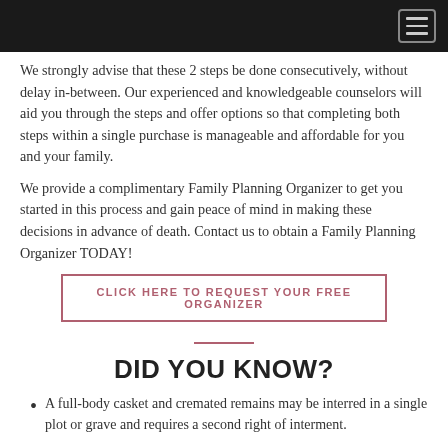[Navigation bar with hamburger menu icon]
We strongly advise that these 2 steps be done consecutively, without delay in-between.  Our experienced and knowledgeable counselors will aid you through the steps and offer options so that completing both steps within a single purchase is manageable and affordable for you and your family.
We provide a complimentary Family Planning Organizer to get you started in this process and gain peace of mind in making these decisions in advance of death.  Contact us to obtain a Family Planning Organizer TODAY!
CLICK HERE TO REQUEST YOUR FREE ORGANIZER
DID YOU KNOW?
A full-body casket and cremated remains may be interred in a single plot or grave and requires a second right of interment.